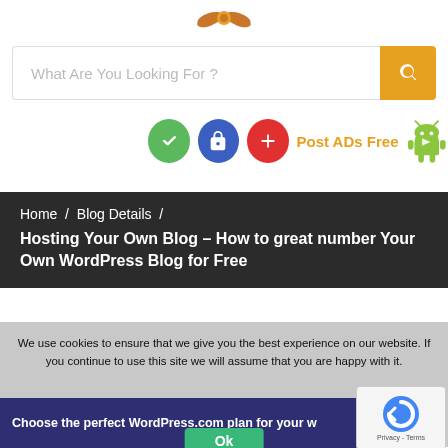[Figure (logo): Orange/gold stylized wings logo at top center]
[Figure (screenshot): Search bar with placeholder 'What Are You Looking For ?' and orange search button]
[Figure (infographic): Three circular icon buttons (green login, blue unlock, red plus) with 'Post ADs Free' text and Android robot icon]
Home / Blog Details / Hosting Your Own Blog – How to great number Your Own WordPress Blog for Free
We use cookies to ensure that we give you the best experience on our website. If you continue to use this site we will assume that you are happy with it.
[Figure (screenshot): WordPress.com plan chooser page strip at bottom]
Ok